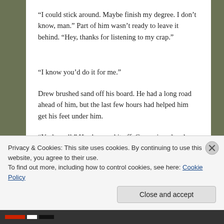“I could stick around. Maybe finish my degree. I don’t know, man.” Part of him wasn’t ready to leave it behind. “Hey, thanks for listening to my crap.”
“I know you’d do it for me.”
Drew brushed sand off his board. He had a long road ahead of him, but the last few hours had helped him get his feet under him.
“Yeah, well.” He shrugged it off. Cam grinned and punched his
Privacy & Cookies: This site uses cookies. By continuing to use this website, you agree to their use.
To find out more, including how to control cookies, see here: Cookie Policy
Close and accept